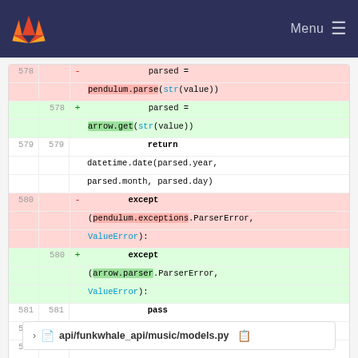GitLab — Menu
[Figure (screenshot): Code diff view showing Python code changes replacing pendulum library with arrow library for date parsing]
api/funkwhale_api/music/models.py